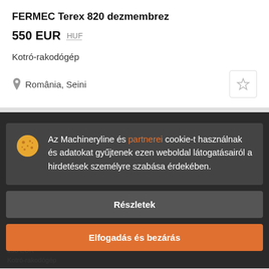FERMEC Terex 820 dezmembrez
550 EUR HUF
Kotró-rakodógép
România, Seini
Az Machineryline és partnerei cookie-t használnak és adatokat gyűjtenek ezen weboldal látogatásairól a hirdetések személyre szabása érdekében.
Részletek
Elfogadás és bezárás
FE...
150 EUR
Kotró-rakodógép